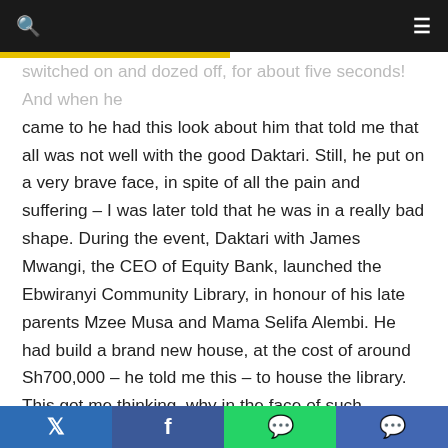🔍  ≡
switched on and dozed off, for about five seconds! And when he came to he had this look about him that told me that all was not well with the good Daktari. Still, he put on a very brave face, in spite of all the pain and suffering – I was later told that he was in a really bad shape. During the event, Daktari with James Mwangi, the CEO of Equity Bank, launched the Ebwiranyi Community Library, in honour of his late parents Mzee Musa and Mama Selifa Alembi. He had build a brand new house, at the cost of around Sh700,000 – he told me this – to house the library. This got me thinking, why in the face of such suffering, would he insist on pulling off such a massive project, in such a hurry. Now, with the benefit of hand sight, I think Daktari had a premonition of his death, that he wanted to get the project out of the way before he passed on. Daktari was really keen on having well-wishers donate books to his library,
Twitter | Facebook | WhatsApp | Messenger